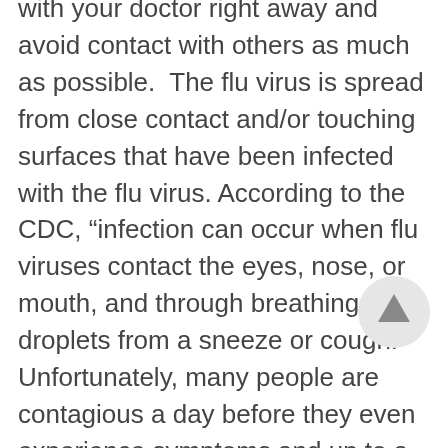with your doctor right away and avoid contact with others as much as possible. The flu virus is spread from close contact and/or touching surfaces that have been infected with the flu virus. According to the CDC, “infection can occur when flu viruses contact the eyes, nose, or mouth, and through breathing in droplets from a sneeze or cough.”  Unfortunately, many people are contagious a day before they even experience symptoms and up to a week after, so it is common for flu viruses to spread to others unintentionally. That’s why a flu vaccine is critical!

Do your part to prevent the spread of the flu this holiday season by choosing from one of the many flu vaccine options
[Figure (other): A circular back-to-top button with an upward-pointing arrow, displayed in light gray.]